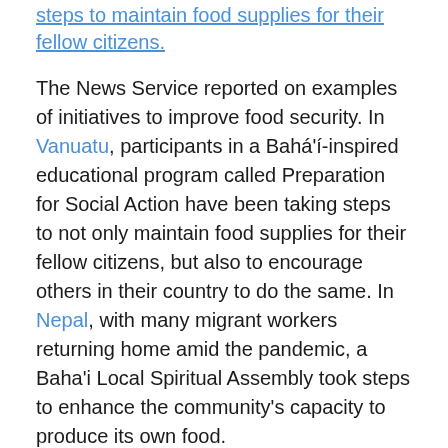steps to maintain food supplies for their fellow citizens.
The News Service reported on examples of initiatives to improve food security. In Vanuatu, participants in a Bahá'í-inspired educational program called Preparation for Social Action have been taking steps to not only maintain food supplies for their fellow citizens, but also to encourage others in their country to do the same. In Nepal, with many migrant workers returning home amid the pandemic, a Baha'i Local Spiritual Assembly took steps to enhance the community's capacity to produce its own food.
In Colombia, FUNDAEC—a Baha'i-inspired organization based in Cali—turned its attention to supporting local food production initiatives, while fostering appreciation toward the land and the environment in communities throughout the country.